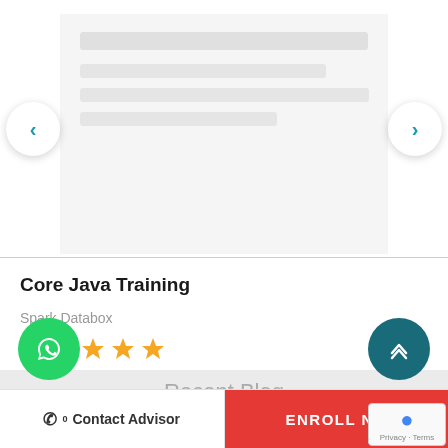[Figure (screenshot): Carousel/slider area with blurred placeholder content lines and left/right navigation arrows]
Core Java Training
Spark Databox
[Figure (other): Five gold star rating icons]
$350  $ 299
Recent Blog
Indian IT job market Why Big Data Keeps Getting Bigger
Contact Advisor   ENROLL NOW